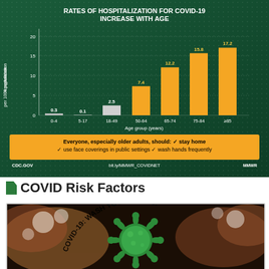[Figure (bar-chart): RATES OF HOSPITALIZATION FOR COVID-19 INCREASE WITH AGE]
COVID Risk Factors
[Figure (photo): Photo of hands being washed with soap suds around a green 3D coronavirus model, with curved text reading COVID-19: WASH YOUR HANDS!]